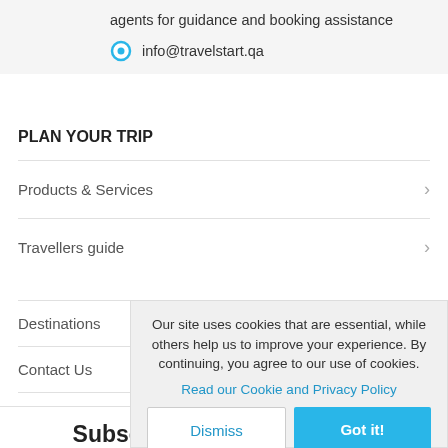agents for guidance and booking assistance
info@travelstart.qa
PLAN YOUR TRIP
Products & Services
Travellers guide
Destinations
Contact Us
Sign Up and Sa...
Our site uses cookies that are essential, while others help us to improve your experience. By continuing, you agree to our use of cookies.
Read our Cookie and Privacy Policy
Dismiss
Got it!
Subscribe to our newsletter